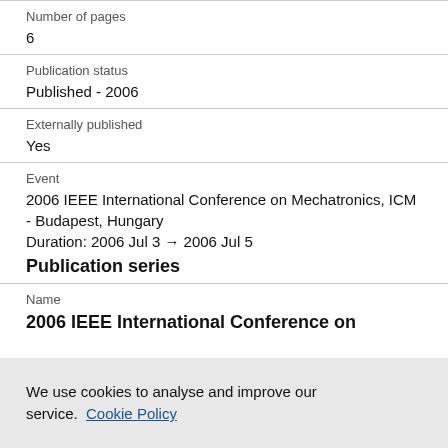Number of pages
6
Publication status
Published - 2006
Externally published
Yes
Event
2006 IEEE International Conference on Mechatronics, ICM - Budapest, Hungary
Duration: 2006 Jul 3 → 2006 Jul 5
Publication series
Name
2006 IEEE International Conference on
We use cookies to analyse and improve our service. Cookie Policy